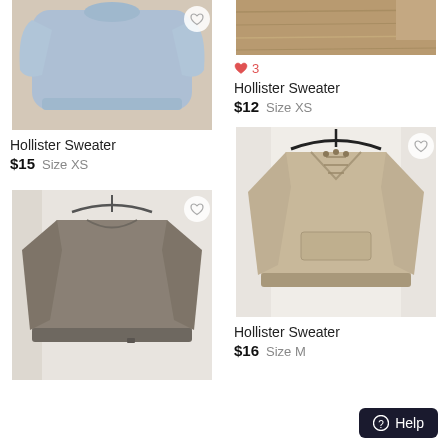[Figure (photo): Light blue Hollister sweater laid flat on carpet]
Hollister Sweater
$15  Size XS
[Figure (photo): Grey knit Hollister sweater hanging on a hanger against white wall]
[Figure (photo): Partial image of wood surface/brown background, top of page right column]
♥ 3
Hollister Sweater
$12  Size XS
[Figure (photo): Beige/tan Hollister V-neck lace-up knit sweater on hanger against white wall]
Hollister Sweater
$16  Size M